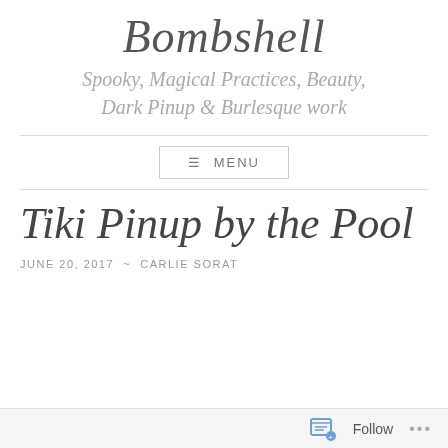Bombshell
Spooky, Magical Practices, Beauty, Dark Pinup & Burlesque work
MENU
Tiki Pinup by the Pool
JUNE 20, 2017 ~ CARLIE SORAT
Follow